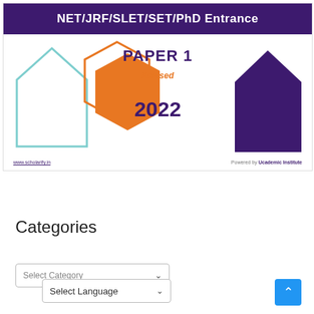[Figure (illustration): Book cover for NET/JRF/SLET/SET/PhD Entrance Paper 1 Revised 2022 by Scholarify and Ucademic Institute, featuring geometric hexagon and house shapes in orange, cyan, and purple on white background with dark purple header banner.]
Categories
Select Category
Select Language